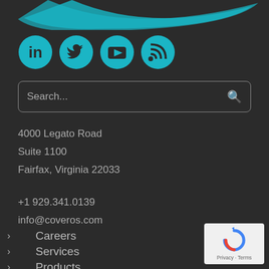[Figure (illustration): Teal/cyan swoosh logo partial at top of page]
[Figure (illustration): Four social media icons in teal circles: LinkedIn, Twitter, YouTube, RSS]
Search...
4000 Legato Road
Suite 1100
Fairfax, Virginia 22033
+1 929.341.0139
info@coveros.com
> Careers
> Services
> Products
[Figure (logo): reCAPTCHA badge with Privacy - Terms text]